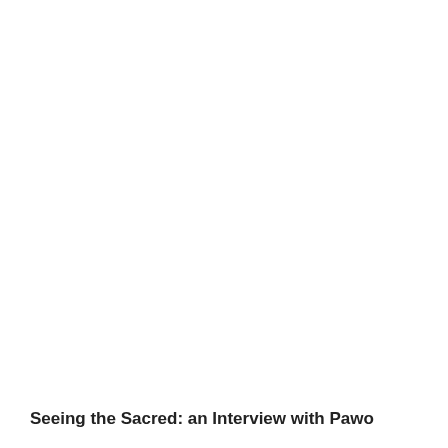Seeing the Sacred: an Interview with Pawo